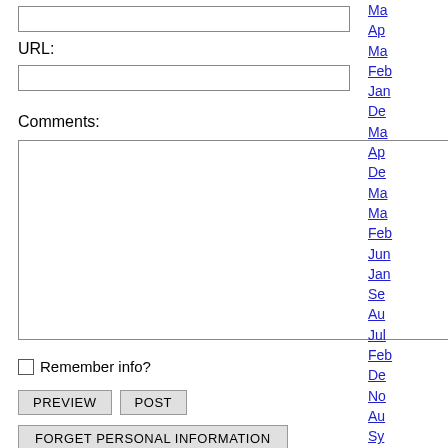URL:
Comments:
Remember info?
PREVIEW
POST
FORGET PERSONAL INFORMATION
Ma
Ap
Ma
Feb
Jan
De
Ma
Ap
De
Ma
Ma
Feb
Jun
Jan
Se
Au
Jul
Feb
De
No
Au
Sy
Po
3.1
©